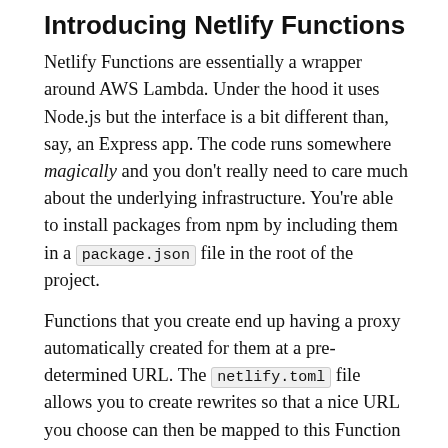Introducing Netlify Functions
Netlify Functions are essentially a wrapper around AWS Lambda. Under the hood it uses Node.js but the interface is a bit different than, say, an Express app. The code runs somewhere magically and you don't really need to care much about the underlying infrastructure. You're able to install packages from npm by including them in a package.json file in the root of the project.
Functions that you create end up having a proxy automatically created for them at a pre-determined URL. The netlify.toml file allows you to create rewrites so that a nice URL you choose can then be mapped to this Function proxy URL.
To support this redirect, I made the following change to my netlify.toml where my existing catch-all rule was configured:
[Figure (screenshot): Code block showing beginning of [functions] configuration in netlify.toml]